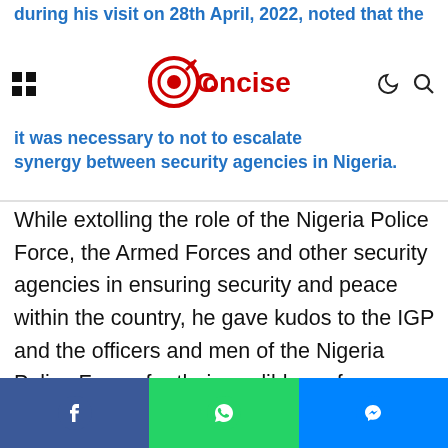during his visit on 28th April, 2022, noted that the ... it was necessary ... to escalate synergy between security agencies in Nigeria.
[Figure (logo): Concise news logo — red target/dart icon with 'Concise' text in red]
While extolling the role of the Nigeria Police Force, the Armed Forces and other security agencies in ensuring security and peace within the country, he gave kudos to the IGP and the officers and men of the Nigeria Police Force, for their credible performance recorded so far.
The Inspector-General of Police described as historic, the visit of the Chief of Defence Staff. He assured of the Force's readiness to strengthen
Facebook share | WhatsApp share | Messenger share